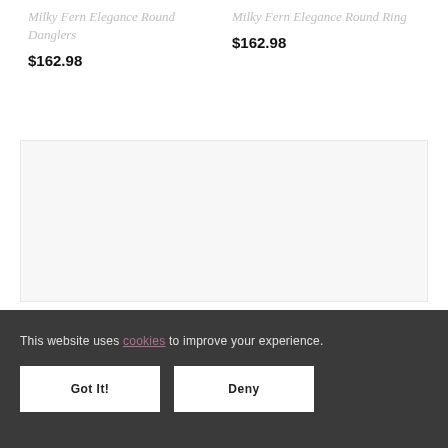Milky Fern Elegance Round Danglers
$162.98
Milky Fern Elegance Round Ring
$162.98
[Figure (other): Product image placeholder area (light gray box)]
This website uses cookies to improve your experience.
Got It!
Deny